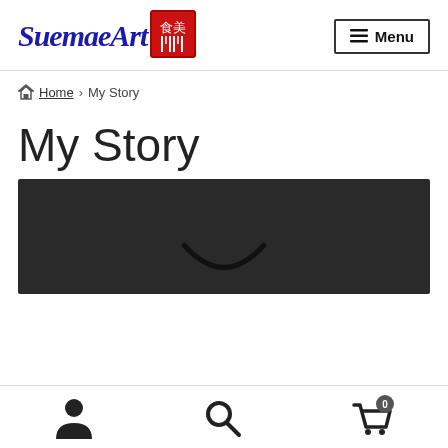[Figure (logo): SuemaeArt logo with blue italic serif text and red Chinese character badge]
≡ Menu
🏠 Home › My Story
My Story
[Figure (photo): Dark/black image area with a partial smile or arc shape visible at the bottom center]
[Figure (infographic): Bottom toolbar with person icon, search icon, and cart icon with badge showing 0]